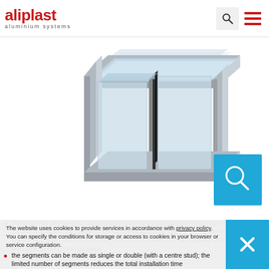aliplast aluminium systems
[Figure (illustration): 3D cross-section diagram of aluminium curtain wall facade system showing profile frames and glass infill layers]
the system is designed for constructing external vertical facades featuring improved thermal insulation; the system consists of prefabricated segments of aluminium profile frames with glass infill (or other material) to be installed on site, together with joints sealed with appropriate EPDM gaskets
the segments can be made as single or double (with a centre stud); the limited number of segments reduces the total installation time
the system can also be installed in segments of window and door structures available within the aluminium systems offered by
The website uses cookies to provide services in accordance with privacy policy. You can specify the conditions for storage or access to cookies in your browser or service configuration.